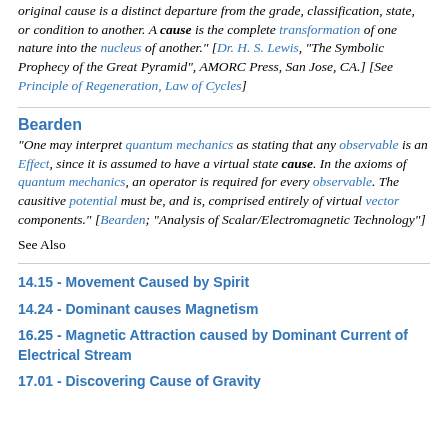original cause is a distinct departure from the grade, classification, state, or condition to another. A cause is the complete transformation of one nature into the nucleus of another." [Dr. H. S. Lewis, "The Symbolic Prophecy of the Great Pyramid", AMORC Press, San Jose, CA.] [See Principle of Regeneration, Law of Cycles]
Bearden
"One may interpret quantum mechanics as stating that any observable is an Effect, since it is assumed to have a virtual state cause. In the axioms of quantum mechanics, an operator is required for every observable. The causitive potential must be, and is, comprised entirely of virtual vector components." [Bearden; "Analysis of Scalar/Electromagnetic Technology"]
See Also
14.15 - Movement Caused by Spirit
14.24 - Dominant causes Magnetism
16.25 - Magnetic Attraction caused by Dominant Current of Electrical Stream
17.01 - Discovering Cause of Gravity